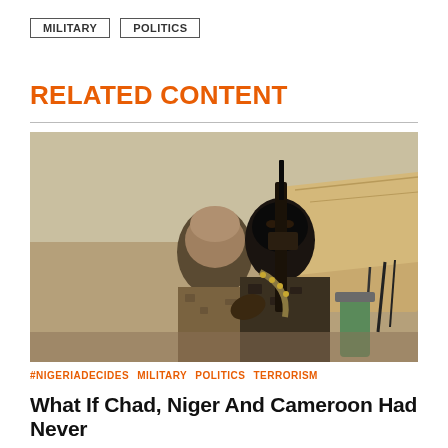MILITARY  POLITICS
RELATED CONTENT
[Figure (photo): Armed men in military/camouflage gear and head wraps, one holding a rifle, seated on a vehicle in a desert setting.]
#NIGERIADECIDES  MILITARY  POLITICS  TERRORISM
What If Chad, Niger And Cameroon Had Never